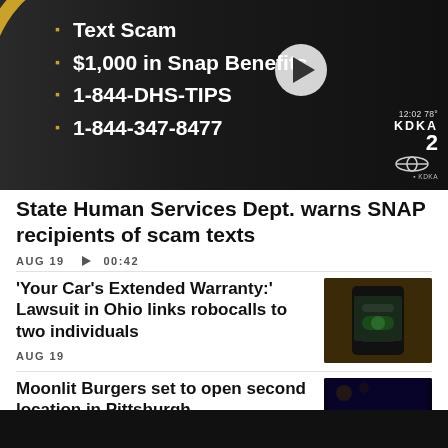[Figure (screenshot): TV news video thumbnail showing KDKA-2 broadcast with bullet list about SNAP text scam, including $1,000 in Snap Benefits, 1-844-DHS-TIPS, 1-844-347-8477. Play button overlay. Time shows 12:02 78°. KDKA 2 CBS logo at bottom right.]
State Human Services Dept. warns SNAP recipients of scam texts
AUG 19  ▶ 00:42
'Your Car's Extended Warranty:' Lawsuit in Ohio links robocalls to two individuals
[Figure (photo): Photo of a smartphone showing an incoming call screen, placed on a wooden surface.]
AUG 19
Moonlit Burgers set to open second location in Pittsburgh
[Figure (photo): Photo of Moonlit Burgers restaurant exterior or signage with blue/purple lighting and MOONLIT text visible.]